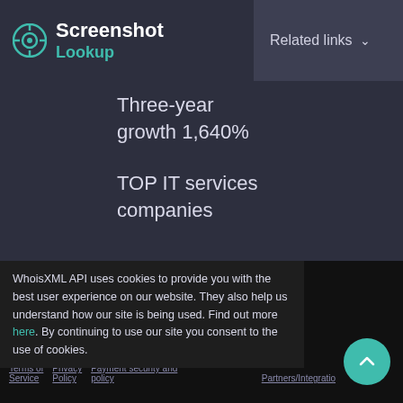Screenshot Lookup
Related links
Three-year growth 1,640%
TOP IT services companies
WhoisXML API uses cookies to provide you with the best user experience on our website. They also help us understand how our site is being used. Find out more here. By continuing to use our site you consent to the use of cookies.
© 2014 — 2023 WHOISAPI, Inc. All rights reserved. Terms of Service   Privacy Policy   Payment security and policy   Partners/Integrations